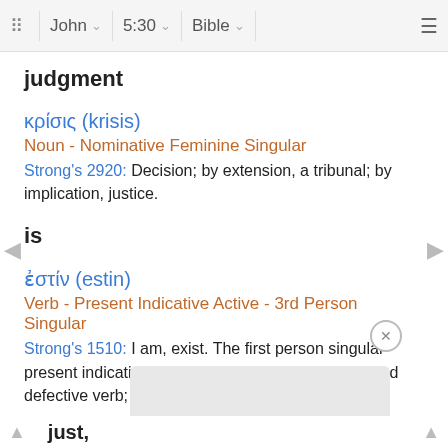John  5:30  Bible
judgment
κρίσις (krisis)
Noun - Nominative Feminine Singular
Strong's 2920: Decision; by extension, a tribunal; by implication, justice.
is
ἐστίν (estin)
Verb - Present Indicative Active - 3rd Person Singular
Strong's 1510: I am, exist. The first person singular present indicative; a prolonged form of a primary and defective verb; I exist.
just,